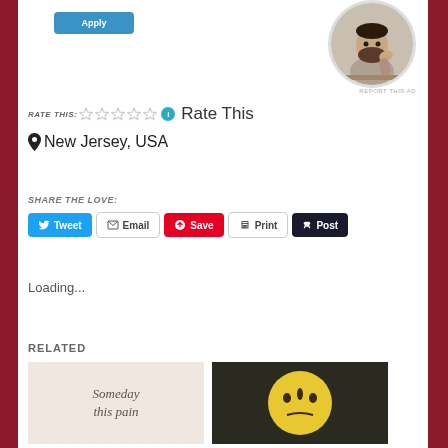[Figure (other): Apply button (blue rounded rectangle) in top left area]
[Figure (photo): Circular profile photo of a man with a beard, wearing a grey shirt, sitting at a desk thinking]
REPORT THIS AD
RATE THIS: ☆☆☆☆☆ ℹ Rate This
📍 New Jersey, USA
SHARE THE LOVE:
Tweet  Email  Save  Print  Post
Loading...
RELATED
[Figure (illustration): Related image 1: light background with italic text 'Someday this pain']
[Figure (illustration): Related image 2: dark background with yellow cartoon face emoji]